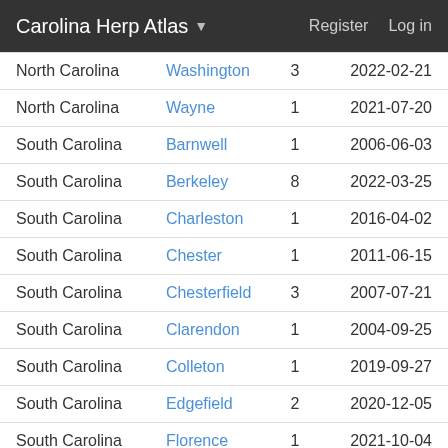Carolina Herp Atlas ▾   Register   Log in
| North Carolina | Washington | 3 | 2022-02-21 |
| North Carolina | Wayne | 1 | 2021-07-20 |
| South Carolina | Barnwell | 1 | 2006-06-03 |
| South Carolina | Berkeley | 8 | 2022-03-25 |
| South Carolina | Charleston | 1 | 2016-04-02 |
| South Carolina | Chester | 1 | 2011-06-15 |
| South Carolina | Chesterfield | 3 | 2007-07-21 |
| South Carolina | Clarendon | 1 | 2004-09-25 |
| South Carolina | Colleton | 1 | 2019-09-27 |
| South Carolina | Edgefield | 2 | 2020-12-05 |
| South Carolina | Florence | 1 | 2021-10-04 |